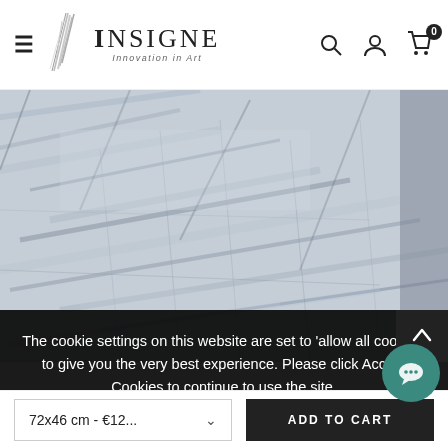[Figure (screenshot): Website navigation bar for 'Insigne – Innovation in Art' with hamburger menu, logo, search icon, user icon, and cart icon showing 0 items.]
[Figure (photo): Close-up photograph of an abstract artwork with brushstroke textures in light grey, blue and white tones.]
The cookie settings on this website are set to 'allow all cookies' to give you the very best experience. Please click Accept Cookies to continue to use the site.
PRIVACY POLICY   ACCEPT ✓
72x46 cm - €12...
ADD TO CART